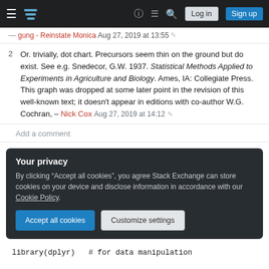Stack Exchange navigation bar with Log in and Sign up buttons
– gung - Reinstate Monica Aug 27, 2019 at 13:55 ✎
2  Or. trivially, dot chart. Precursors seem thin on the ground but do exist. See e.g. Snedecor, G.W. 1937. Statistical Methods Applied to Experiments in Agriculture and Biology. Ames, IA: Collegiate Press. This graph was dropped at some later point in the revision of this well-known text; it doesn't appear in editions with co-author W.G. Cochran, – Nick Cox Aug 27, 2019 at 14:12 ✎
Add a comment
Your privacy
By clicking "Accept all cookies", you agree Stack Exchange can store cookies on your device and disclose information in accordance with our Cookie Policy.
Accept all cookies   Customize settings
library(dplyr)   # for data manipulation